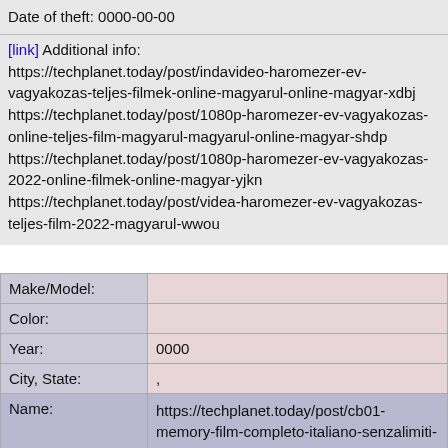Date of theft: 0000-00-00
[link] Additional info: https://techplanet.today/post/indavideo-haromezer-ev-vagyakozas-teljes-filmek-online-magyarul-online-magyar-xdbj https://techplanet.today/post/1080p-haromezer-ev-vagyakozas-online-teljes-film-magyarul-magyarul-online-magyar-shdp https://techplanet.today/post/1080p-haromezer-ev-vagyakozas-2022-online-filmek-online-magyar-yjkn https://techplanet.today/post/videa-haromezer-ev-vagyakozas-teljes-film-2022-magyarul-wwou
| Field | Value |
| --- | --- |
| Make/Model: |  |
| Color: |  |
| Year: | 0000 |
| City, State: | , |
| Name: | https://techplanet.today/post/cb01-memory-film-completo-italiano-senzalimiti-mhd-xzqk https://techplanet.today/post/mhd-memory-film-streaming-gratis-in-ita-altadefinizione-ihru https://techplanet.today/post/scaricare-memory-film-streaming-completo-ita-2022-kxoj https://techplanet.today/post/film-senzalimiti- |